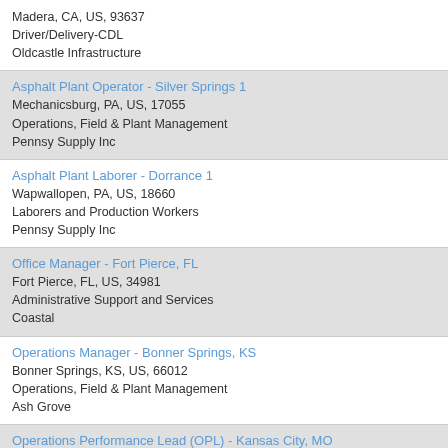Madera, CA, US, 93637
Driver/Delivery-CDL
Oldcastle Infrastructure
Asphalt Plant Operator - Silver Springs 1
Mechanicsburg, PA, US, 17055
Operations, Field & Plant Management
Pennsy Supply Inc
Asphalt Plant Laborer - Dorrance 1
Wapwallopen, PA, US, 18660
Laborers and Production Workers
Pennsy Supply Inc
Office Manager - Fort Pierce, FL
Fort Pierce, FL, US, 34981
Administrative Support and Services
Coastal
Operations Manager - Bonner Springs, KS
Bonner Springs, KS, US, 66012
Operations, Field & Plant Management
Ash Grove
Operations Performance Lead (OPL) - Kansas City, MO
Kansas City, MO, US, 64132
Operations, Field & Plant Management